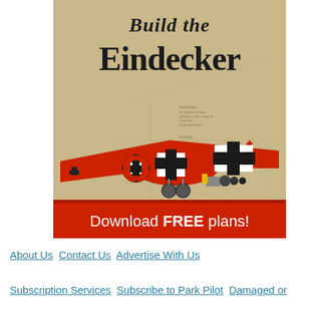[Figure (illustration): Advertisement for 'Build the Eindecker' model airplane with red WWI-style plane with Iron Cross markings on a blueprint background, with a red banner at bottom reading 'Download FREE plans!']
About Us  Contact Us  Advertise With Us
Subscription Services  Subscribe to Park Pilot  Damaged or